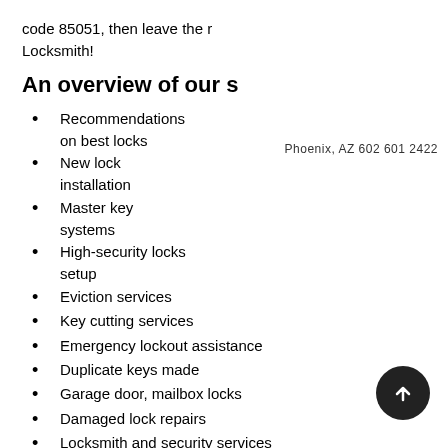code 85051, then leave the r Locksmith!
An overview of our s
Recommendations on best locks
New lock installation
Master key systems
High-security locks setup
Eviction services
Key cutting services
Emergency lockout assistance
Duplicate keys made
Garage door, mailbox locks
Damaged lock repairs
Locksmith and security services
Lock replacement